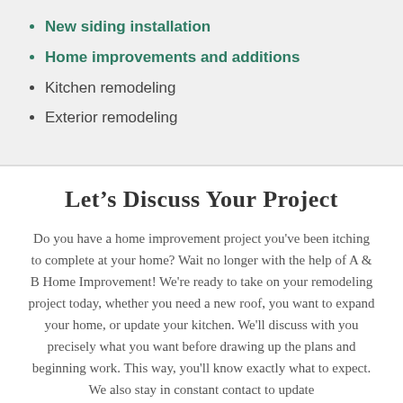New siding installation
Home improvements and additions
Kitchen remodeling
Exterior remodeling
Let’s Discuss Your Project
Do you have a home improvement project you've been itching to complete at your home? Wait no longer with the help of A & B Home Improvement! We're ready to take on your remodeling project today, whether you need a new roof, you want to expand your home, or update your kitchen. We'll discuss with you precisely what you want before drawing up the plans and beginning work. This way, you'll know exactly what to expect. We also stay in constant contact to update